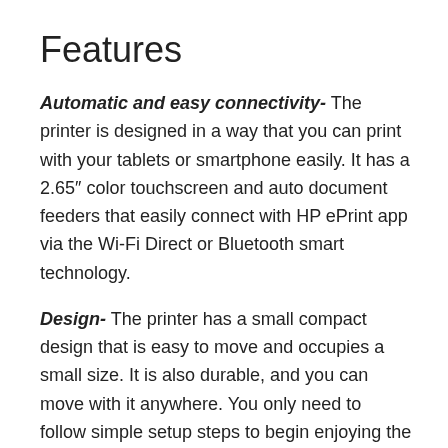Features
Automatic and easy connectivity- The printer is designed in a way that you can print with your tablets or smartphone easily. It has a 2.65″ color touchscreen and auto document feeders that easily connect with HP ePrint app via the Wi-Fi Direct or Bluetooth smart technology.
Design- The printer has a small compact design that is easy to move and occupies a small size. It is also durable, and you can move with it anywhere. You only need to follow simple setup steps to begin enjoying the printing process from your printer.
Long-lasting battery- The battery's charging period and battery quality always need to look at